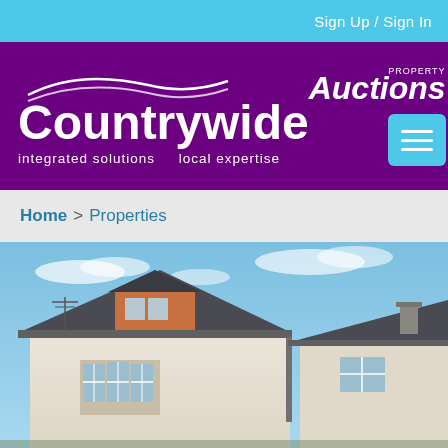Sign Up / Sign In
[Figure (logo): Countrywide Property Auctions logo with swoosh design on purple background. Text: PROPERTY Auctions, Countrywide, integrated solutions, local expertise. Hamburger menu button in cyan.]
Home > Properties
[Figure (photo): Exterior photograph of a semi-detached house with white render walls, bay window, dark grey/slate roof with central gabled dormer, red-tiled roof detail, and grey guttering. Blue sky with light clouds in background.]